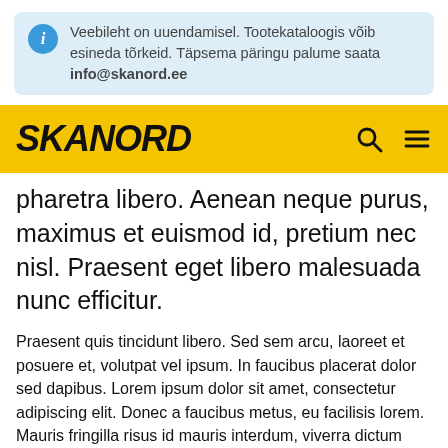Veebileht on uuendamisel. Tootekataloogis võib esineda tõrkeid. Täpsema päringu palume saata info@skanord.ee
[Figure (logo): SKANORD logo in bold italic black text on yellow navigation bar with search and hamburger menu icons]
pharetra libero. Aenean neque purus, maximus et euismod id, pretium nec nisl. Praesent eget libero malesuada nunc efficitur.
Praesent quis tincidunt libero. Sed sem arcu, laoreet et posuere et, volutpat vel ipsum. In faucibus placerat dolor sed dapibus. Lorem ipsum dolor sit amet, consectetur adipiscing elit. Donec a faucibus metus, eu facilisis lorem. Mauris fringilla risus id mauris interdum, viverra dictum lectus lacinia. Pellentesque eleifend feugiat velit, id viverra dui pharetra id. Pellentesque convallis ante metus, vel tempus massa congue et. Interdum et malesuada fames ac ante